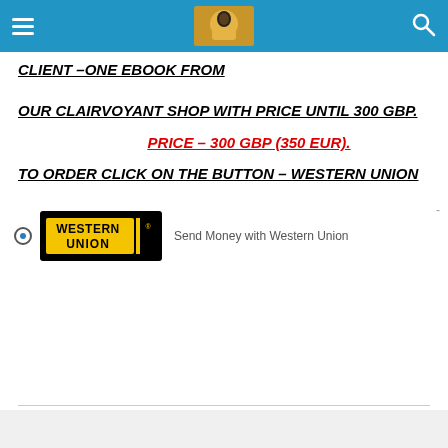Navigation header with hamburger menu, logo, and search icon
CLIENT –ONE EBOOK FROM

OUR CLAIRVOYANT SHOP WITH PRICE UNTIL 300 GBP.
PRICE – 300 GBP (350 EUR).
TO ORDER CLICK ON THE BUTTON – WESTERN UNION
[Figure (logo): Western Union logo button with radio button and 'Send Money with Western Union' text]